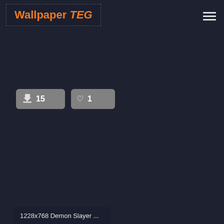Wallpaper TEG
[Figure (screenshot): Download count button showing 15 downloads and a like/heart button showing 1 like, on dark background]
1228x768 Demon Slayer ...